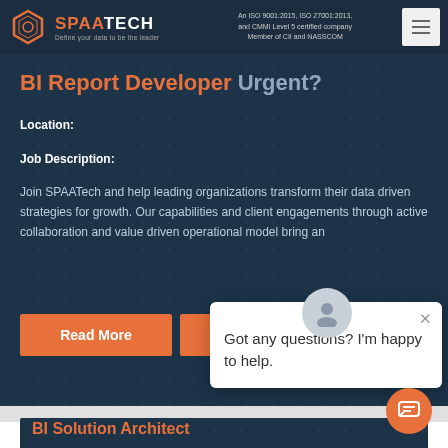SPAATECH — An ISO 9001:2015, ISO 27001:2013, and CMMI Level 5 certified company. Member of CII and NASSCOM.
BI Report Developer Urgent?
Location:
Job Description:
Join SPAATech and help leading organizations transform their data driven strategies for growth. Our capabilities and client engagements through active collaboration and value driven operational model bring an
Read More
Apply
Got any questions? I'm happy to help.
BI Solution Architect